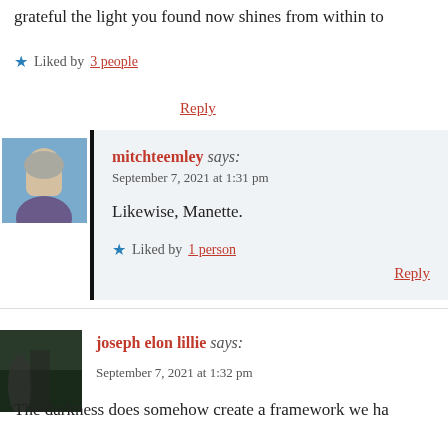grateful the light you found now shines from within to
★ Liked by 3 people
Reply
mitchteemley says: September 7, 2021 at 1:31 pm
Likewise, Manette.
★ Liked by 1 person
Reply
joseph elon lillie says: September 7, 2021 at 1:32 pm
The darkness does somehow create a framework we ha